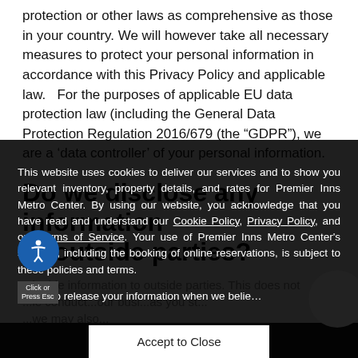protection or other laws as comprehensive as those in your country. We will however take all necessary measures to protect your personal information in accordance with this Privacy Policy and applicable law.   For the purposes of applicable EU data protection law (including the General Data Protection Regulation 2016/679 (the “GDPR”), we are a ‘data controller’ of your personal information.
Do we disclose any information to outside parties?
This website uses cookies to deliver our services and to show you relevant inventory, property details, and rates for Premier Inns Metro Center. By using our website, you acknowledge that you have read and understand our Cookie Policy, Privacy Policy, and our Terms of Service. Your use of Premier Inns Metro Center's services, including the booking of online reservations, is subject to these policies and terms.